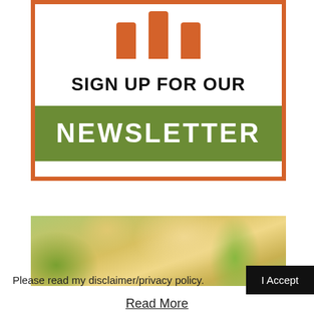[Figure (illustration): Sign up for our newsletter promotional box with orange border, three orange vertical bars as icons, bold black text 'SIGN UP FOR OUR', and a green banner with white bold text 'NEWSLETTER']
[Figure (photo): Partial photo of a blonde woman outdoors with green foliage background]
Please read my disclaimer/privacy policy.
I Accept
Read More